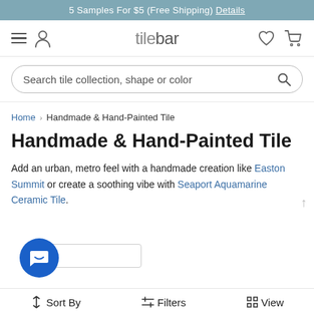5 Samples For $5 (Free Shipping) Details
[Figure (screenshot): TileBar website navigation bar with hamburger menu, user icon, TileBar logo, heart icon, and cart icon]
Search tile collection, shape or color
Home > Handmade & Hand-Painted Tile
Handmade & Hand-Painted Tile
Add an urban, metro feel with a handmade creation like Easton Summit or create a soothing vibe with Seaport Aquamarine Ceramic Tile.
Sort By   Filters   View